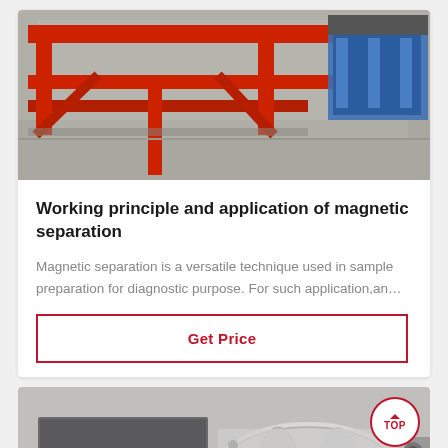[Figure (photo): Industrial red metal frame machine on factory floor with blue equipment in background]
Working principle and application of magnetic separation
Magnetic separation is a versatile technique used in sample preparation for diagnostic purpose. For such application,an…
Get Price
[Figure (photo): Industrial cylindrical magnetic separation equipment in grey/white on factory floor]